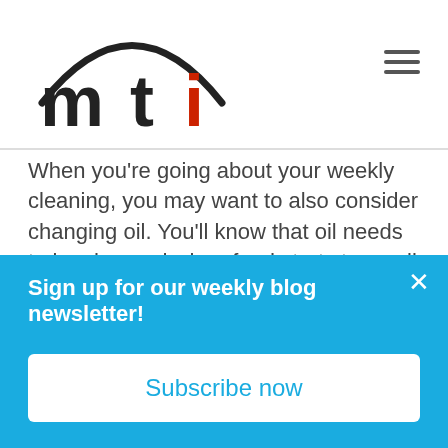[Figure (logo): MTI logo with stylized arc above the letters m, t, i in black and red]
When you’re going about your weekly cleaning, you may want to also consider changing oil. You’ll know that oil needs to be changed when food starts to smell or taste burnt or stale, if the finish on your food is darker or has burnt spots, or when you see a smoky or slight blue haze coming from your fryer. These are all pretty good indicators that it’s time for a change! You can learn more about oil change warning signs here.
Sign up for our weekly blog newsletter!
Subscribe now